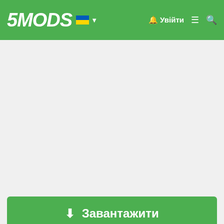5MODS – Увійти
[Figure (screenshot): Grey advertisement/banner area]
⬇ Завантажити
⬡ Поділитися
Bleep999
[Figure (photo): Author profile photo showing two female performers]
YouTube 830
Пожертвувати через PayPal